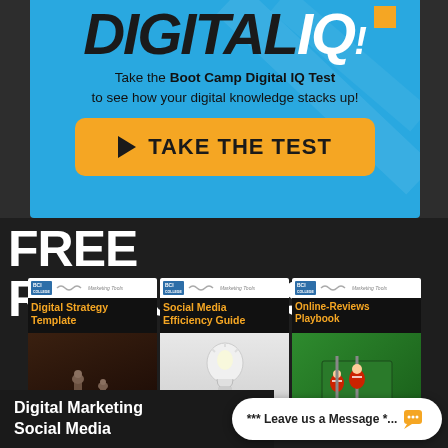DIGITAL IQ
Take the Boot Camp Digital IQ Test to see how your digital knowledge stacks up!
[Figure (infographic): Orange rounded rectangle button with play arrow icon and text TAKE THE TEST]
FREE RESOURCES
[Figure (illustration): Three BCI Marketing Tools booklet covers: Digital Strategy Template (chess pieces background), Social Media Efficiency Guide (lightbulb background), Online-Reviews Playbook (foosball table background)]
Digital Marketing
Social Media
*** Leave us a Message *...